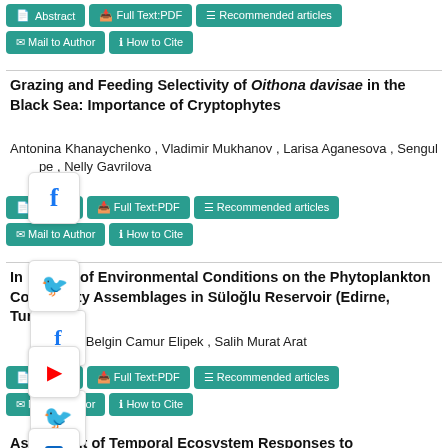[Figure (other): Navigation buttons: Abstract, Full Text:PDF, Recommended articles, Mail to Author, How to Cite]
Grazing and Feeding Selectivity of Oithona davisae in the Black Sea: Importance of Cryptophytes
Antonina Khanaychenko , Vladimir Mukhanov , Larisa Aganesova , Sengul [pe] , Nelly Gavrilova
[Figure (other): Navigation buttons: Abstract, Full Text:PDF, Recommended articles, Mail to Author, How to Cite with Facebook social icon overlay]
Influence of Environmental Conditions on the Phytoplankton Community Assemblages in Süloğlu Reservoir (Edirne, Turkey)
[r] Oterler , Belgin Camur Elipek , Salih Murat Arat
[Figure (other): Navigation buttons: Abstract, Full Text:PDF, Recommended articles, Mail to Author, How to Cite with YouTube social icon overlay]
Assessment of Temporal Ecosystem Responses to Phytoplankton via Photosynthetic Pigments under a Potential Oil Spill Event in Iskenderun Bay